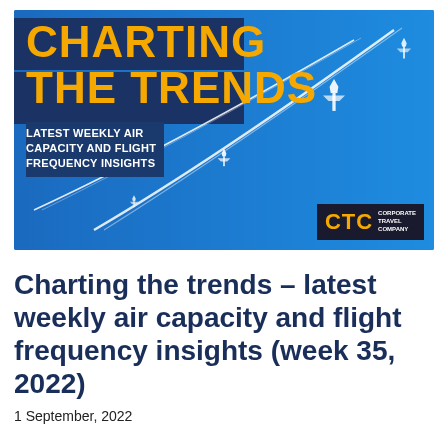[Figure (illustration): Blue banner image with airplane contrails against a bright blue sky. Bold yellow text reads 'CHARTING THE TRENDS' with white subtitle text 'LATEST WEEKLY AIR CAPACITY AND FLIGHT FREQUENCY INSIGHTS'. CTC (Corporate Travel Community) logo in bottom right corner.]
Charting the trends – latest weekly air capacity and flight frequency insights (week 35, 2022)
1 September, 2022